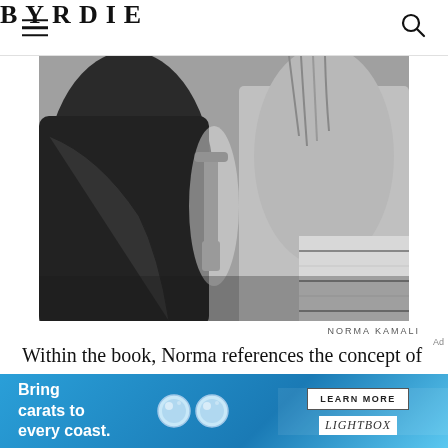BYRDIE
[Figure (photo): Black and white close-up photo of two people, one appearing to help or adjust clothing on the other. A wheelchair handle is partially visible in the background.]
NORMA KAMALI
Within the book, Norma references the concept of "normal life," which instantly sparked something my mom said to me at a young age: "If you're not weird
[Figure (screenshot): Advertisement banner: 'Bring carats to every coast.' with diamond earring images and a LEARN MORE button for LIGHTBOX brand]